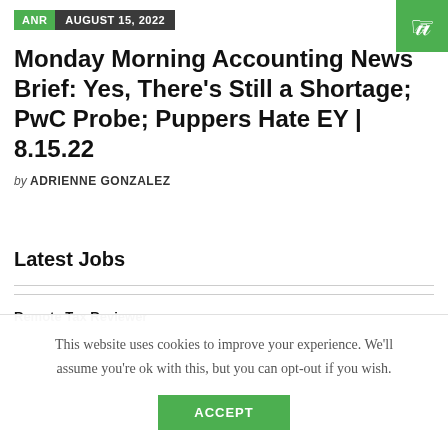ANR | AUGUST 15, 2022
Monday Morning Accounting News Brief: Yes, There's Still a Shortage; PwC Probe; Puppers Hate EY | 8.15.22
by ADRIENNE GONZALEZ
Latest Jobs
Remote Tax Reviewer
This website uses cookies to improve your experience. We'll assume you're ok with this, but you can opt-out if you wish. ACCEPT